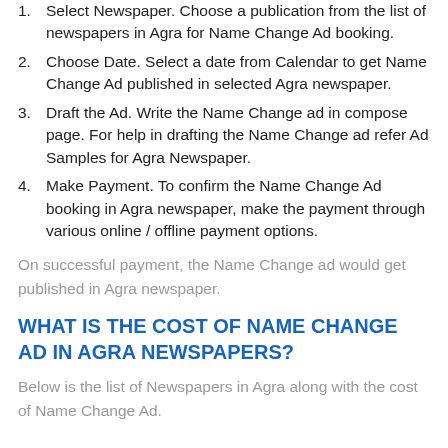1. Select Newspaper. Choose a publication from the list of newspapers in Agra for Name Change Ad booking.
2. Choose Date. Select a date from Calendar to get Name Change Ad published in selected Agra newspaper.
3. Draft the Ad. Write the Name Change ad in compose page. For help in drafting the Name Change ad refer Ad Samples for Agra Newspaper.
4. Make Payment. To confirm the Name Change Ad booking in Agra newspaper, make the payment through various online / offline payment options.
On successful payment, the Name Change ad would get published in Agra newspaper.
WHAT IS THE COST OF NAME CHANGE AD IN AGRA NEWSPAPERS?
Below is the list of Newspapers in Agra along with the cost of Name Change Ad.